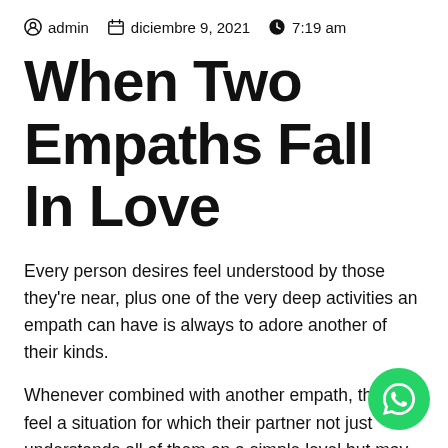admin  diciembre 9, 2021  7:19 am
When Two Empaths Fall In Love
Every person desires feel understood by those they're near, plus one of the very deep activities an empath can have is always to adore another of their kinds.
Whenever combined with another empath, they'll feel a situation for which their partner not just understands all of them on a simple level but may become exactly what they're feeling as well.